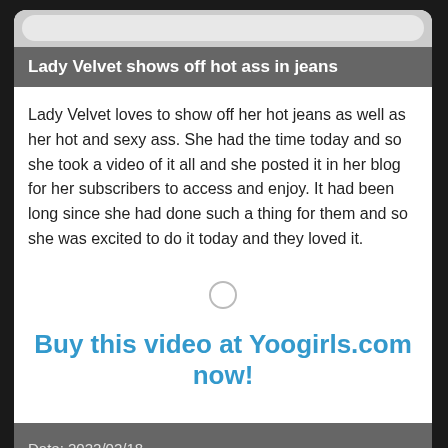Lady Velvet shows off hot ass in jeans
Lady Velvet loves to show off her hot jeans as well as her hot and sexy ass. She had the time today and so she took a video of it all and she posted it in her blog for her subscribers to access and enjoy. It had been long since she had done such a thing for them and so she was excited to do it today and they loved it.
Buy this video at Yoogirls.com now!
Date: 2022/02/18
Keywords: Lady Velvet , pov , denim , jeans , smother , ass worship , humiliation , full weight